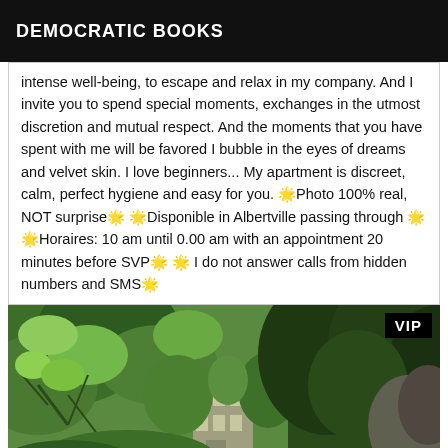DEMOCRATIC BOOKS
intense well-being, to escape and relax in my company. And I invite you to spend special moments, exchanges in the utmost discretion and mutual respect. And the moments that you have spent with me will be favored I bubble in the eyes of dreams and velvet skin. I love beginners... My apartment is discreet, calm, perfect hygiene and easy for you. 🌟Photo 100% real, NOT surprise🌟 🌟Disponible in Albertville passing through 🌟 🌟Horaires: 10 am until 0.00 am with an appointment 20 minutes before SVP🌟 🌟 I do not answer calls from hidden numbers and SMS🌟
[Figure (photo): Aerial/overhead view of lush green trees and forest with a building partially visible in the center, with a VIP badge in the top right corner]